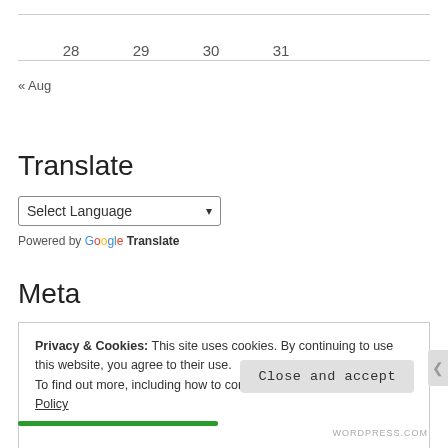| 28 | 29 | 30 | 31 |
| --- | --- | --- | --- |
« Aug
Translate
Select Language (dropdown)
Powered by Google Translate
Meta
Privacy & Cookies: This site uses cookies. By continuing to use this website, you agree to their use.
To find out more, including how to control cookies, see here: Cookie Policy
Close and accept